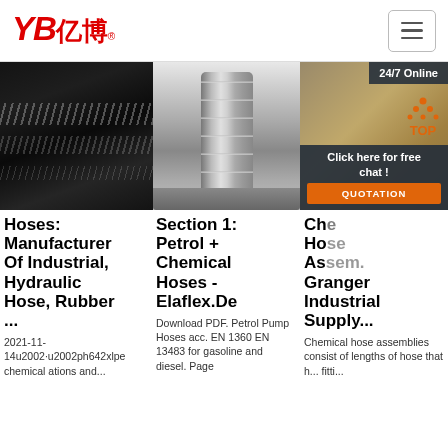[Figure (logo): YB亿博 logo in red with registered trademark symbol]
[Figure (photo): Close-up photo of a black industrial rubber hose with wire braiding]
[Figure (photo): Close-up photo of a metallic hose fitting/coupling showing threads]
[Figure (photo): Photo of woven/braided hose with 24/7 Online badge and customer service representative, with 'Click here for free chat!' and QUOTATION button overlay]
Hoses: Manufacturer Of Industrial, Hydraulic Hose, Rubber ...
Section 1: Petrol + Chemical Hoses - Elaflex.De
Chemical Hose Assemblies - Grainger Industrial Supply
2021-11-14u2002·u2002ph642xlpe chemical ations and...
Download PDF. Petrol Pump Hoses acc. EN 1360 EN 13483 for gasoline and diesel. Page
Chemical hose assemblies consist of lengths of hose that h... fitti...